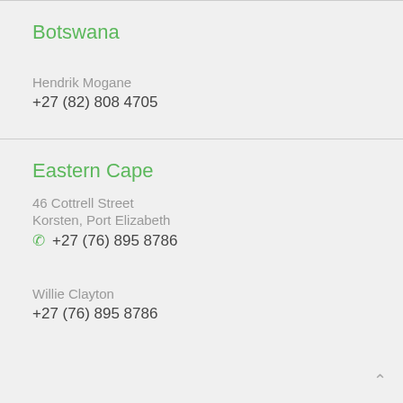Botswana
Hendrik Mogane
+27 (82) 808 4705
Eastern Cape
46 Cottrell Street
Korsten, Port Elizabeth
+27 (76) 895 8786
Willie Clayton
+27 (76) 895 8786